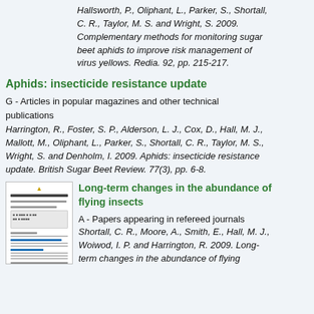Hallsworth, P., Oliphant, L., Parker, S., Shortall, C. R., Taylor, M. S. and Wright, S. 2009. Complementary methods for monitoring sugar beet aphids to improve risk management of virus yellows. Redia. 92, pp. 215-217.
Aphids: insecticide resistance update
G - Articles in popular magazines and other technical publications
Harrington, R., Foster, S. P., Alderson, L. J., Cox, D., Hall, M. J., Mallott, M., Oliphant, L., Parker, S., Shortall, C. R., Taylor, M. S., Wright, S. and Denholm, I. 2009. Aphids: insecticide resistance update. British Sugar Beet Review. 77(3), pp. 6-8.
[Figure (illustration): Thumbnail image of a document page showing text and blue underlined links]
Long-term changes in the abundance of flying insects
A - Papers appearing in refereed journals
Shortall, C. R., Moore, A., Smith, E., Hall, M. J., Woiwod, I. P. and Harrington, R. 2009. Long-term changes in the abundance of flying